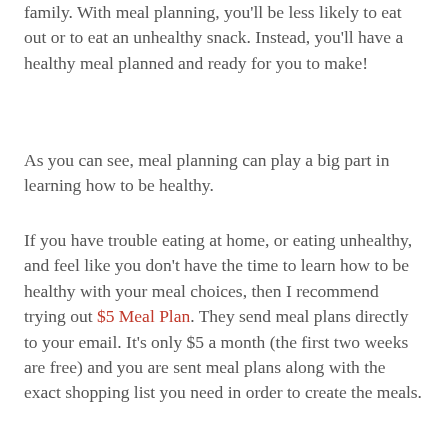family. With meal planning, you'll be less likely to eat out or to eat an unhealthy snack. Instead, you'll have a healthy meal planned and ready for you to make!
As you can see, meal planning can play a big part in learning how to be healthy.
If you have trouble eating at home, or eating unhealthy, and feel like you don't have the time to learn how to be healthy with your meal choices, then I recommend trying out $5 Meal Plan. They send meal plans directly to your email. It's only $5 a month (the first two weeks are free) and you are sent meal plans along with the exact shopping list you need in order to create the meals.